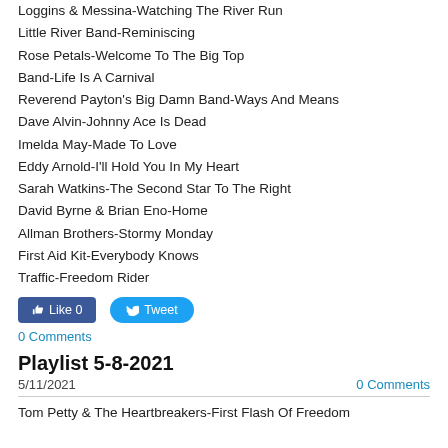Loggins & Messina-Watching The River Run
Little River Band-Reminiscing
Rose Petals-Welcome To The Big Top
Band-Life Is A Carnival
Reverend Payton's Big Damn Band-Ways And Means
Dave Alvin-Johnny Ace Is Dead
Imelda May-Made To Love
Eddy Arnold-I'll Hold You In My Heart
Sarah Watkins-The Second Star To The Right
David Byrne & Brian Eno-Home
Allman Brothers-Stormy Monday
First Aid Kit-Everybody Knows
Traffic-Freedom Rider
Like 0   Tweet
0 Comments
Playlist 5-8-2021
5/11/2021    0 Comments
Tom Petty & The Heartbreakers-First Flash Of Freedom